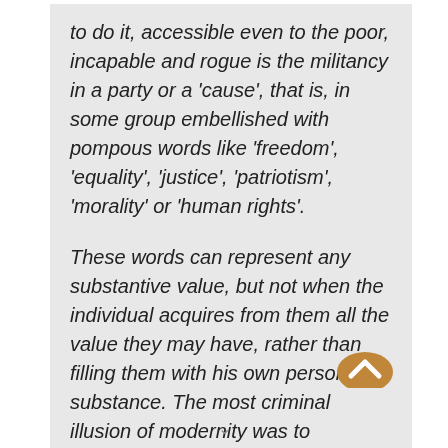to do it, accessible even to the poor, incapable and rogue is the militancy in a party or a 'cause', that is, in some group embellished with pompous words like 'freedom', 'equality', 'justice', 'patriotism', 'morality' or 'human rights'.

These words can represent any substantive value, but not when the individual acquires from them all the value they may have, rather than filling them with his own personal substance. The most criminal illusion of modernity was to